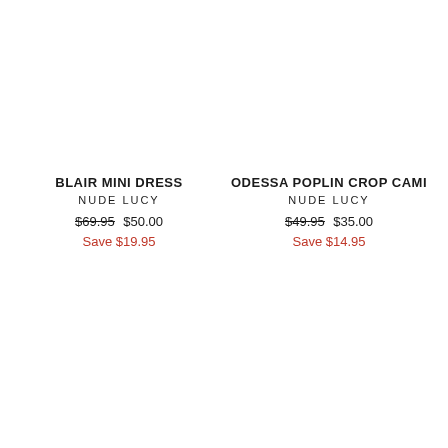BLAIR MINI DRESS
NUDE LUCY
$69.95 $50.00
Save $19.95
ODESSA POPLIN CROP CAMI
NUDE LUCY
$49.95 $35.00
Save $14.95